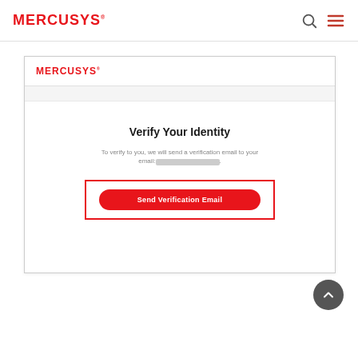MERCUSYS
[Figure (screenshot): Mercusys website screenshot showing a 'Verify Your Identity' dialog with a red-bordered 'Send Verification Email' button. The dialog contains the Mercusys logo, a gray sub-bar, the title 'Verify Your Identity', descriptive text about sending a verification email to a blurred email address, and a red oval 'Send Verification Email' button inside a red rectangle border.]
[Figure (other): Dark gray circular scroll-to-top button with an upward chevron arrow icon, positioned in the bottom-right area of the page.]